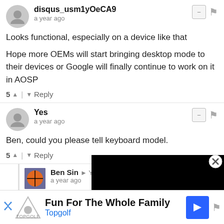disqus_usm1yOeCA9 · a year ago
Looks functional, especially on a device like that
Hope more OEMs will start bringing desktop mode to their devices or Google will finally continue to work on it in AOSP
5 ▲ | ▼ Reply
Yes · a year ago
Ben, could you please tell keyboard model.
5 ▲ | ▼ Reply
Ben Sin → Yes · a year ago
Hi, the brand is Sanwa. I don't just Sanwa Foldable keyboard
3 ▲ | ▼ Reply
[Figure (screenshot): Black video/media overlay covering right portion of the comment section]
Fun For The Whole Family Topgolf (advertisement)